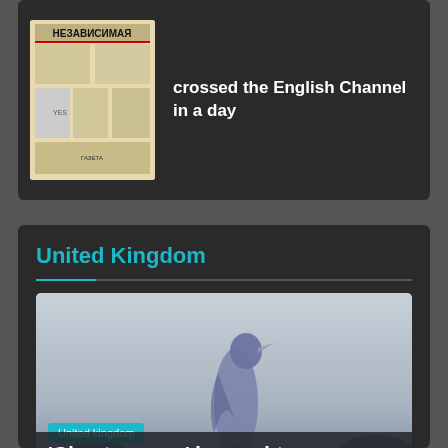[Figure (photo): Thumbnail of a newspaper called NEZAVISIMAYA (Russian newspaper front page)]
crossed the English Channel in a day
United Kingdom
[Figure (photo): Blurry photo of a bird (possibly a heron or jay) standing upright against a misty grey sky background]
United kingdom
'Ghost woman' is caught on camera standing in ruins at